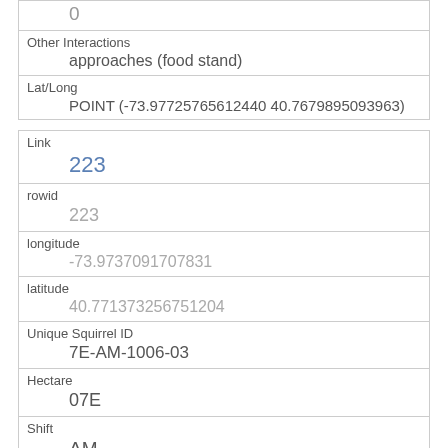| 0 |
| Other Interactions | approaches (food stand) |
| Lat/Long | POINT (-73.97725765612440 40.7679895093963) |
| Link | 223 |
| rowid | 223 |
| longitude | -73.9737091707831 |
| latitude | 40.771373256751204 |
| Unique Squirrel ID | 7E-AM-1006-03 |
| Hectare | 07E |
| Shift | AM |